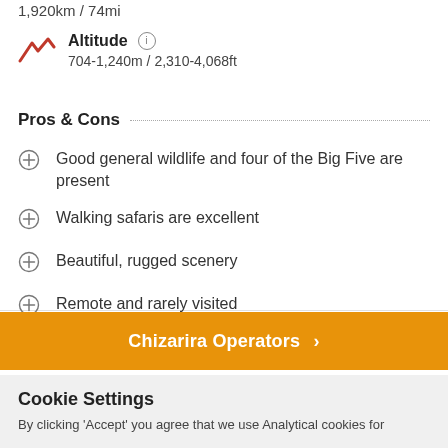1,920km / 74mi
Altitude  704-1,240m / 2,310-4,068ft
Pros & Cons
Good general wildlife and four of the Big Five are present
Walking safaris are excellent
Beautiful, rugged scenery
Remote and rarely visited
Chizarira Operators ›
Cookie Settings
By clicking 'Accept' you agree that we use Analytical cookies for